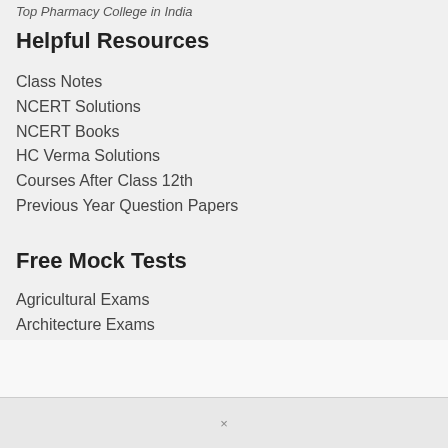Top Pharmacy College in India
Helpful Resources
Class Notes
NCERT Solutions
NCERT Books
HC Verma Solutions
Courses After Class 12th
Previous Year Question Papers
Free Mock Tests
Agricultural Exams
Architecture Exams
Education Exams
Engineering Exams